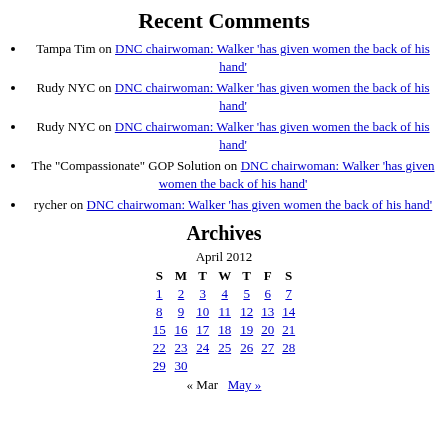Recent Comments
Tampa Tim on DNC chairwoman: Walker 'has given women the back of his hand'
Rudy NYC on DNC chairwoman: Walker 'has given women the back of his hand'
Rudy NYC on DNC chairwoman: Walker 'has given women the back of his hand'
The "Compassionate" GOP Solution on DNC chairwoman: Walker 'has given women the back of his hand'
rycher on DNC chairwoman: Walker 'has given women the back of his hand'
Archives
April 2012
| S | M | T | W | T | F | S |
| --- | --- | --- | --- | --- | --- | --- |
| 1 | 2 | 3 | 4 | 5 | 6 | 7 |
| 8 | 9 | 10 | 11 | 12 | 13 | 14 |
| 15 | 16 | 17 | 18 | 19 | 20 | 21 |
| 22 | 23 | 24 | 25 | 26 | 27 | 28 |
| 29 | 30 |  |  |  |  |  |
« Mar   May »